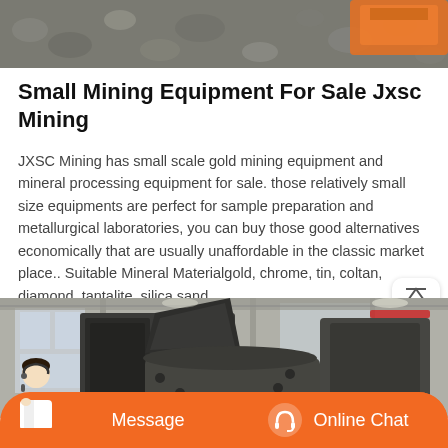[Figure (photo): Top partial image showing gravel/stones with an orange mining equipment piece visible]
Small Mining Equipment For Sale Jxsc Mining
JXSC Mining has small scale gold mining equipment and mineral processing equipment for sale. those relatively small size equipments are perfect for sample preparation and metallurgical laboratories, you can buy those good alternatives economically that are usually unaffordable in the classic market place.. Suitable Mineral Materialgold, chrome, tin, coltan, diamond, tantalite, silica sand.
[Figure (photo): Industrial mining equipment in a factory/warehouse setting — large dark metal crushing or processing machines with overhead crane visible in background]
Message   Online Chat